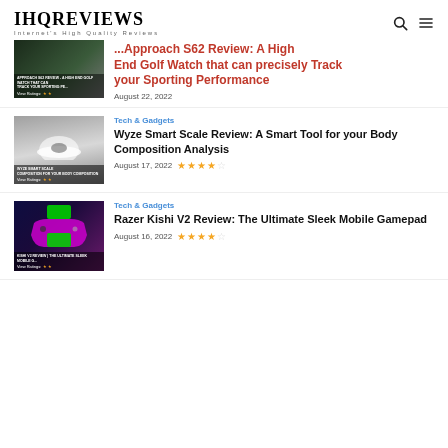IHQREVIEWS — Internet's High Quality Reviews
Approach S62 Review: A High End Golf Watch that can precisely Track your Sporting Performance — August 22, 2022
Tech & Gadgets — Wyze Smart Scale Review: A Smart Tool for your Body Composition Analysis — August 17, 2022 — 4/5 stars
Tech & Gadgets — Razer Kishi V2 Review: The Ultimate Sleek Mobile Gamepad — August 16, 2022 — 4/5 stars